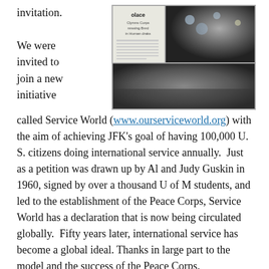invitation. We were invited to join a new initiative
[Figure (photo): Newspaper/magazine spread showing a large crowd event with the word 'solace' visible, along with two photo panels — a text column on left and crowd photos on right and bottom.]
called Service World (www.ourserviceworld.org) with the aim of achieving JFK's goal of having 100,000 U. S. citizens doing international service annually.  Just as a petition was drawn up by Al and Judy Guskin in 1960, signed by over a thousand U of M students, and led to the establishment of the Peace Corps, Service World has a declaration that is now being circulated globally.  Fifty years later, international service has become a global ideal. Thanks in large part to the model and the success of the Peace Corps.
It only makes sense in today's world that a call to globalize Kennedy's great challenge would arise.  Those of us who were in Ann Arbor this time felt a quiver deep inside us that was something other than just a reaction to the damp and